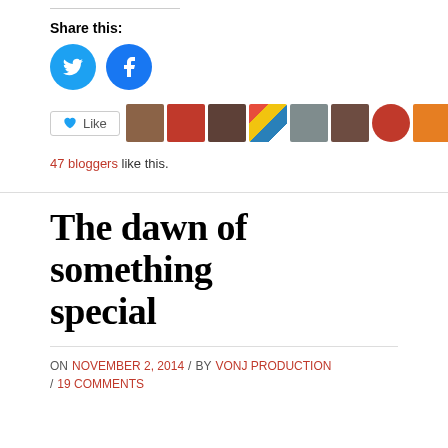Share this:
[Figure (illustration): Twitter and Facebook share icons as blue circles with white logos]
[Figure (illustration): Like button followed by a strip of 10 blogger avatar thumbnails]
47 bloggers like this.
The dawn of something special
ON NOVEMBER 2, 2014 / BY VONJ PRODUCTION / 19 COMMENTS